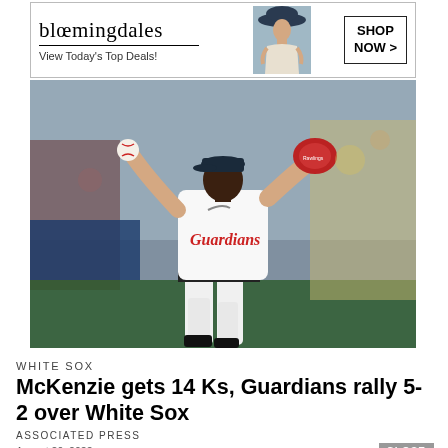[Figure (illustration): Bloomingdales advertisement banner at top: logo, 'View Today's Top Deals!' tagline, fashion model silhouette, 'SHOP NOW >' button]
[Figure (photo): Baseball pitcher in Cleveland Guardians white uniform with red glove in mid-throw, crowd in background]
WHITE SOX
McKenzie gets 14 Ks, Guardians rally 5-2 over White Sox
ASSOCIATED PRESS
August 20, 2022
[Figure (illustration): Bloomingdales advertisement banner at bottom with 'CLOSE' button: logo, 'View Today's Top Deals!' tagline, fashion model silhouette, 'SHOP NOW >' button]